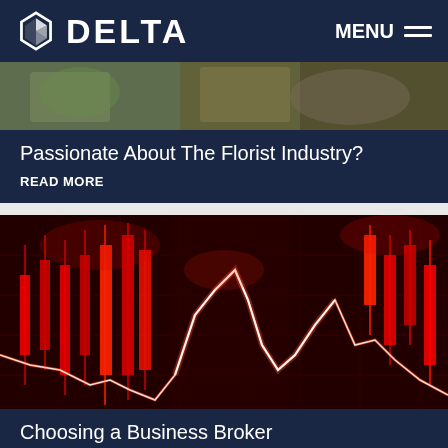DELTA | MENU
[Figure (photo): Partial florist/flower image at top of first article card]
Passionate About The Florist Industry?
READ MORE
[Figure (photo): Stock market candlestick chart with red candles and glowing red/white line chart overlay on dark red background]
Choosing a Business Broker
READ MORE